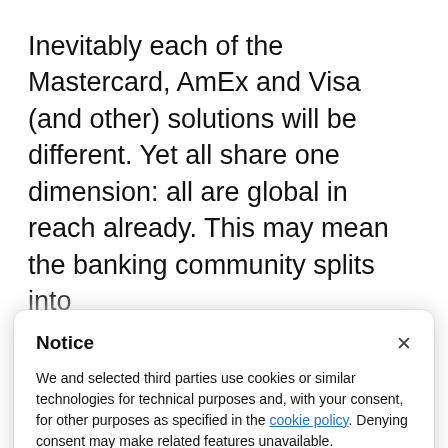Inevitably each of the Mastercard, AmEx and Visa (and other) solutions will be different. Yet all share one dimension: all are global in reach already. This may mean the banking community splits into
Notice
We and selected third parties use cookies or similar technologies for technical purposes and, with your consent, for other purposes as specified in the cookie policy. Denying consent may make related features unavailable.
Use the “Accept” button or close this notice to consent to the use of such technologies.
Accept
Learn more and customise